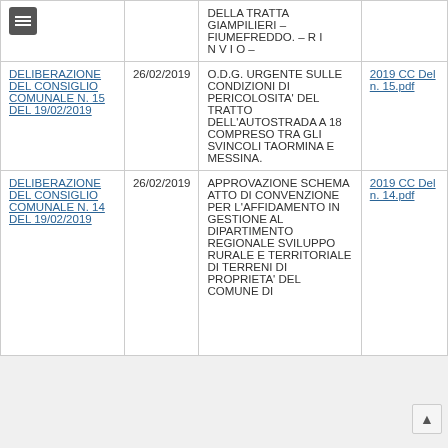| Deliberazione | Data | Oggetto | Allegato |
| --- | --- | --- | --- |
| (menu icon) |  | DELLA TRATTA GIAMPILIERI – FIUMEFREDDO. – R I N V I O – |  |
| DELIBERAZIONE DEL CONSIGLIO COMUNALE N. 15 DEL 19/02/2019 | 26/02/2019 | O.D.G. URGENTE SULLE CONDIZIONI DI PERICOLOSITA' DEL TRATTO DELL'AUTOSTRADA A 18 COMPRESO TRA GLI SVINCOLI TAORMINA E MESSINA. | 2019 CC Del n. 15.pdf |
| DELIBERAZIONE DEL CONSIGLIO COMUNALE N. 14 DEL 19/02/2019 | 26/02/2019 | APPROVAZIONE SCHEMA ATTO DI CONVENZIONE PER L'AFFIDAMENTO IN GESTIONE AL DIPARTIMENTO REGIONALE SVILUPPO RURALE E TERRITORIALE DI TERRENI DI PROPRIETA' DEL COMUNE DI | 2019 CC Del n. 14.pdf |